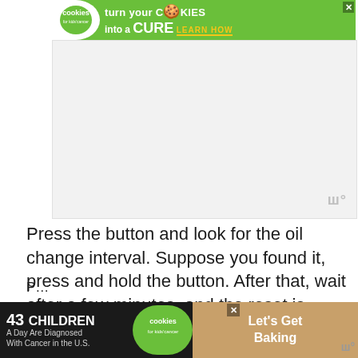[Figure (other): Advertisement banner: cookies for kids cancer - turn your cookies into a CURE LEARN HOW]
[Figure (other): Video placeholder area with watermark logo in bottom right corner]
Press the button and look for the oil change interval. Suppose you found it, press and hold the button. After that, wait after a few minutes, and the reset is done.
1999 BMW 328i Oil Reset
[Figure (other): Bottom advertisement banner: 43 Children A Day Are Diagnosed With Cancer in the U.S. - cookies for kids cancer - Let's Get Baking]